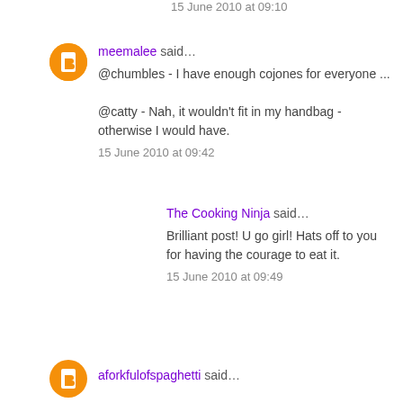15 June 2010 at 09:10
meemalee said…
@chumbles - I have enough cojones for everyone ...

@catty - Nah, it wouldn't fit in my handbag - otherwise I would have.
15 June 2010 at 09:42
The Cooking Ninja said…
Brilliant post! U go girl! Hats off to you for having the courage to eat it.
15 June 2010 at 09:49
aforkfulofspaghetti said…